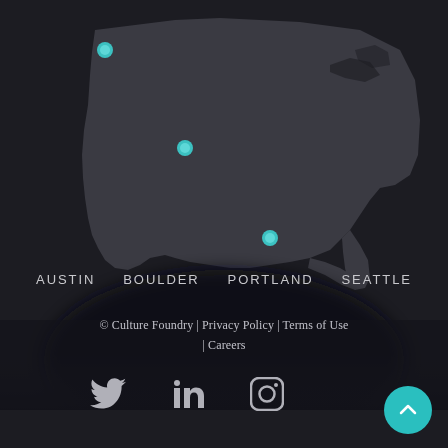[Figure (map): Dark-themed US map with three cyan/teal location dots marking Seattle (top-left), Boulder (center-left), and Austin/Portland (center)]
AUSTIN   BOULDER   PORTLAND   SEATTLE
© Culture Foundry | Privacy Policy | Terms of Use | Careers
[Figure (other): Social media icons: Twitter bird, LinkedIn 'in', Instagram camera outline]
[Figure (other): Teal circular scroll-to-top button with upward chevron arrow]